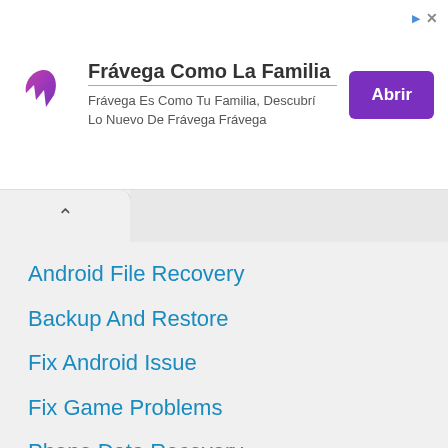[Figure (other): Advertisement banner for Frávega Como La Familia with logo, text, and purple Abrir button]
Android File Recovery
Backup And Restore
Fix Android Issue
Fix Game Problems
Phone Data Recovery
Phone Transfer
Tricks & Tips